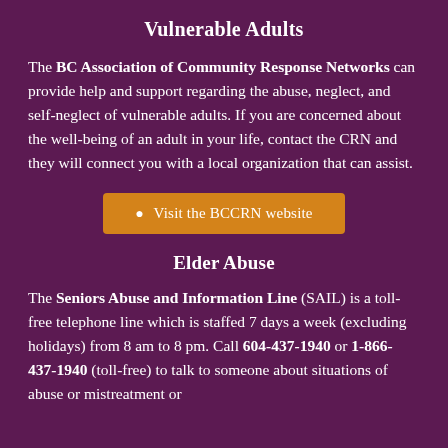Vulnerable Adults
The BC Association of Community Response Networks can provide help and support regarding the abuse, neglect, and self-neglect of vulnerable adults. If you are concerned about the well-being of an adult in your life, contact the CRN and they will connect you with a local organization that can assist.
Visit the BCCRN website
Elder Abuse
The Seniors Abuse and Information Line (SAIL) is a toll-free telephone line which is staffed 7 days a week (excluding holidays) from 8 am to 8 pm. Call 604-437-1940 or 1-866-437-1940 (toll-free) to talk to someone about situations of abuse or mistreatment or